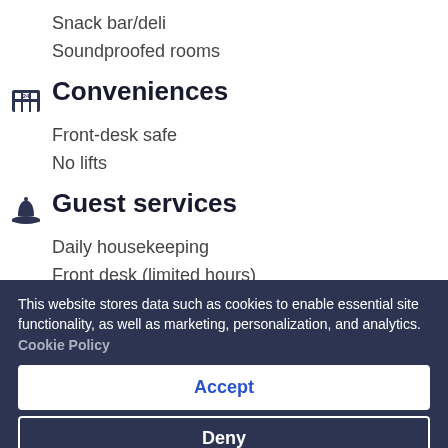Snack bar/deli
Soundproofed rooms
Conveniences
Front-desk safe
No lifts
Guest services
Daily housekeeping
Front desk (limited hours)
Laundry facilities
This website stores data such as cookies to enable essential site functionality, as well as marketing, personalization, and analytics. Cookie Policy
Accept
Deny